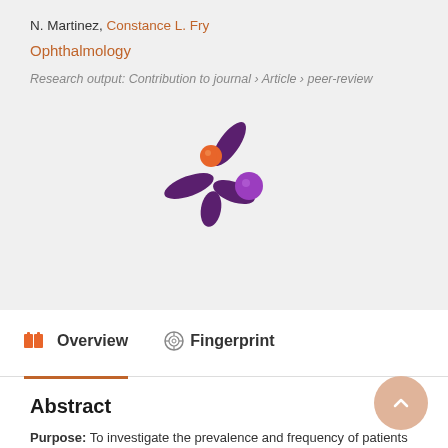N. Martinez, Constance L. Fry
Ophthalmology
Research output: Contribution to journal › Article › peer-review
[Figure (logo): Altmetric/research network logo — a stylized asterisk/splash shape in dark purple with orange and purple dots]
Overview
Fingerprint
Abstract
Purpose: To investigate the prevalence and frequency of patients with blepharoptosis who take anticholesterol therapies. To our knowledge, this is the first large single-center series to